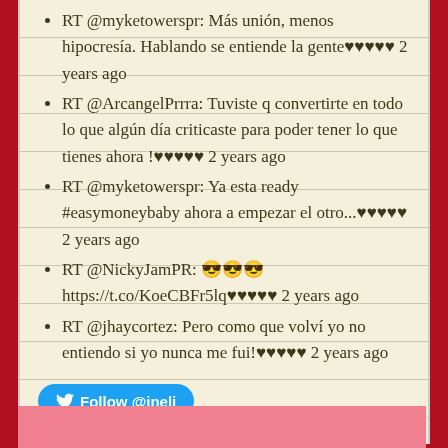RT @myketowerspr: Más unión, menos hipocresía. Hablando se entiende la gente♥♥♥♥♥ 2 years ago
RT @ArcangelPrrra: Tuviste q convertirte en todo lo que algún día criticaste para poder tener lo que tienes ahora !♥♥♥♥♥ 2 years ago
RT @myketowerspr: Ya esta ready #easymoneybaby ahora a empezar el otro...♥♥♥♥♥ 2 years ago
RT @NickyJamPR: 😎😎😎 https://t.co/KoeCBFr5lq♥♥♥♥♥ 2 years ago
RT @jhaycortez: Pero como que volví yo no entiendo si yo nunca me fui!♥♥♥♥♥ 2 years ago
Follow @jnelj